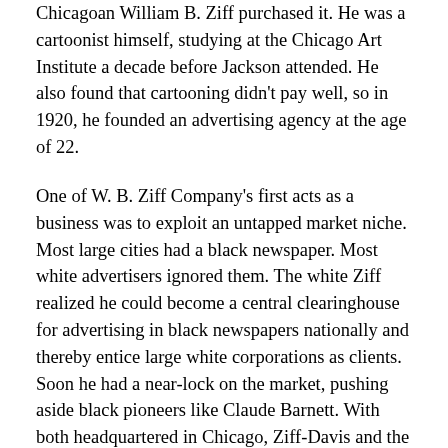Chicagoan William B. Ziff purchased it. He was a cartoonist himself, studying at the Chicago Art Institute a decade before Jackson attended. He also found that cartooning didn't pay well, so in 1920, he founded an advertising agency at the age of 22.
One of W. B. Ziff Company's first acts as a business was to exploit an untapped market niche. Most large cities had a black newspaper. Most white advertisers ignored them. The white Ziff realized he could become a central clearinghouse for advertising in black newspapers nationally and thereby entice large white corporations as clients. Soon he had a near-lock on the market, pushing aside black pioneers like Claude Barnett. With both headquartered in Chicago, Ziff-Davis and the Defender had close ties. Either he or the art director of his company's many magazines, Herman R. Bolin, turned to local artists to provide illustrations for Amazing. Jackson was known as good, versatile, and fast, all the utter necessities of a freelancer.